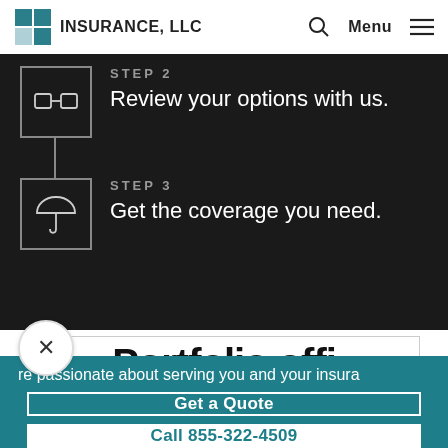INSURANCE, LLC
STEP 2
Review your options with us.
STEP 3
Get the coverage you need.
re passionate about serving you and your insura
Get a Quote
Call 855-322-4509